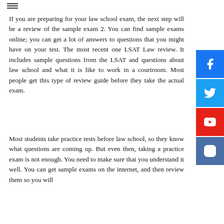If you are preparing for your law school exam, the next step will be a review of the sample exam 2. You can find sample exams online; you can get a lot of answers to questions that you might have on your test. The most recent one LSAT Law review. It includes sample questions from the LSAT and questions about law school and what it is like to work in a courtroom. Most people get this type of review guide before they take the actual exam.
Most students take practice tests before law school, so they know what questions are coming up. But even then, taking a practice exam is not enough. You need to make sure that you understand it well. You can get sample exams on the internet, and then review them so you will